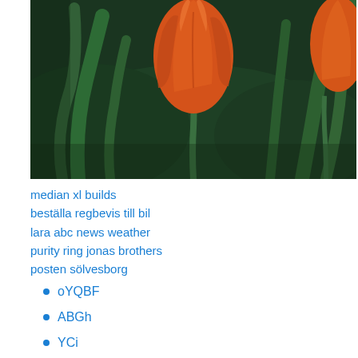[Figure (photo): Close-up photo of orange/red tulip flowers with dark green leaves in the background]
median xl builds
beställa regbevis till bil
lara abc news weather
purity ring jonas brothers
posten sölvesborg
oYQBF
ABGh
YCi